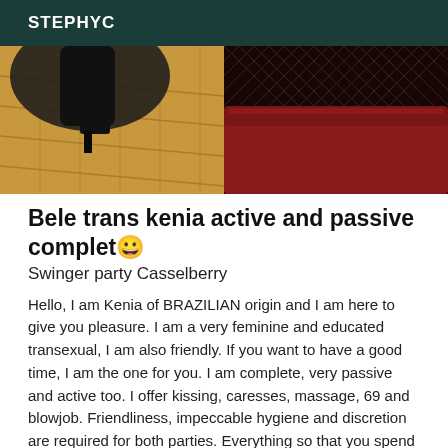STEPHYC
[Figure (photo): Two side-by-side photos: left shows a wooden parquet floor with a high-heeled shoe/boot; right shows a red sofa with fishnet stockings visible]
Bele trans kenia active and passive complet😊
Swinger party Casselberry
Hello, I am Kenia of BRAZILIAN origin and I am here to give you pleasure. I am a very feminine and educated transexual, I am also friendly. If you want to have a good time, I am the one for you. I am complete, very passive and active too. I offer kissing, caresses, massage, 69 and blowjob. Friendliness, impeccable hygiene and discretion are required for both parties. Everything so that you spend a very good moment of relaxation in my company. I am above all with the listening of your desires. I privilege a meeting, a true exchange, and not